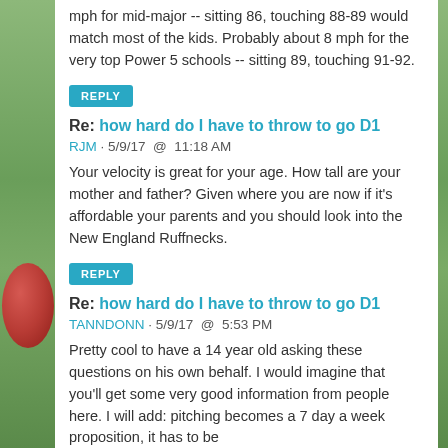mph for mid-major -- sitting 86, touching 88-89 would match most of the kids. Probably about 8 mph for the very top Power 5 schools -- sitting 89, touching 91-92.
REPLY
Re: how hard do I have to throw to go D1
RJM · 5/9/17  @  11:18 AM
Your velocity is great for your age. How tall are your mother and father? Given where you are now if it's affordable your parents and you should look into the New England Ruffnecks.
REPLY
Re: how hard do I have to throw to go D1
TANNDONN · 5/9/17  @  5:53 PM
Pretty cool to have a 14 year old asking these questions on his own behalf. I would imagine that you'll get some very good information from people here. I will add: pitching becomes a 7 day a week proposition, it has to be